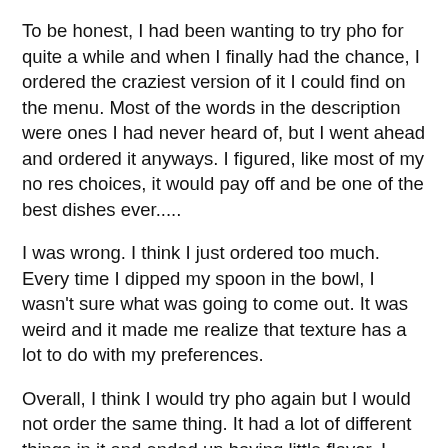To be honest, I had been wanting to try pho for quite a while and when I finally had the chance, I ordered the craziest version of it I could find on the menu. Most of the words in the description were ones I had never heard of, but I went ahead and ordered it anyways. I figured, like most of my no res choices, it would pay off and be one of the best dishes ever.....
I was wrong. I think I just ordered too much. Every time I dipped my spoon in the bowl, I wasn't sure what was going to come out. It was weird and it made me realize that texture has a lot to do with my preferences.
Overall, I think I would try pho again but I would not order the same thing. It had a lot of different things in it and ended up having little flavor. I have heard that chicken pho has a better taste but I'll have to get back to you on that!
Does anyone have any suggestions for my next pho attempt? I want to like it so much, haha.